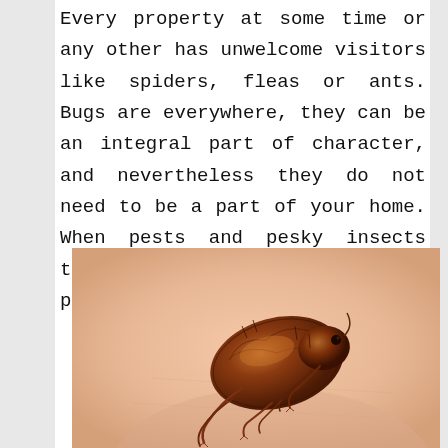Every property at some time or any other has unwelcome visitors like spiders, fleas or ants. Bugs are everywhere, they can be an integral part of character, and nevertheless they do not need to be a part of your home. When pests and pesky insects transfer to your home they could put your loved ones in danger.
[Figure (photo): Close-up macro photograph of a flea on human skin, showing detailed brown body with legs]